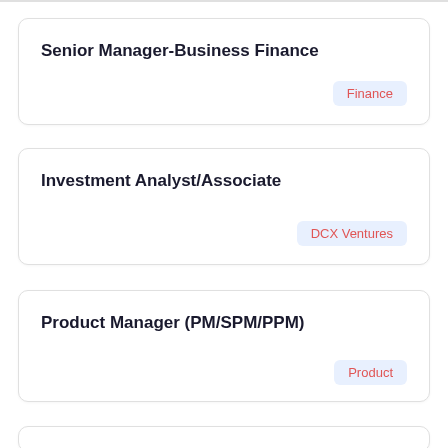Senior Manager-Business Finance
Finance
Investment Analyst/Associate
DCX Ventures
Product Manager (PM/SPM/PPM)
Product